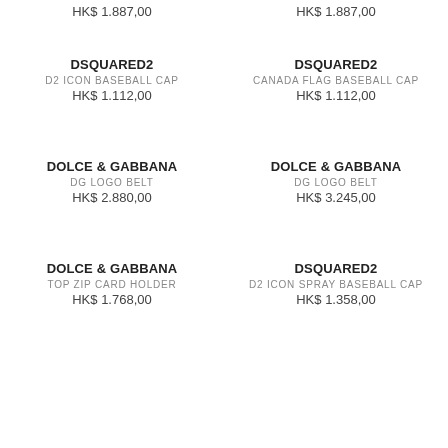HK$ 1.887,00 (left, top)
HK$ 1.887,00 (right, top)
DSQUARED2 / D2 ICON BASEBALL CAP / HK$ 1.112,00
DSQUARED2 / CANADA FLAG BASEBALL CAP / HK$ 1.112,00
DOLCE & GABBANA / DG LOGO BELT / HK$ 2.880,00
DOLCE & GABBANA / DG LOGO BELT / HK$ 3.245,00
DOLCE & GABBANA / TOP ZIP CARD HOLDER / HK$ 1.768,00
DSQUARED2 / D2 ICON SPRAY BASEBALL CAP / HK$ 1.358,00